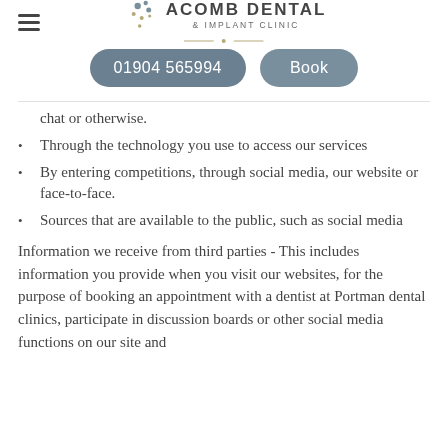Acomb Dental & Implant Clinic — navigation header with phone and book buttons
chat or otherwise.
Through the technology you use to access our services
By entering competitions, through social media, our website or face-to-face.
Sources that are available to the public, such as social media
Information we receive from third parties - This includes information you provide when you visit our websites, for the purpose of booking an appointment with a dentist at Portman dental clinics, participate in discussion boards or other social media functions on our site and